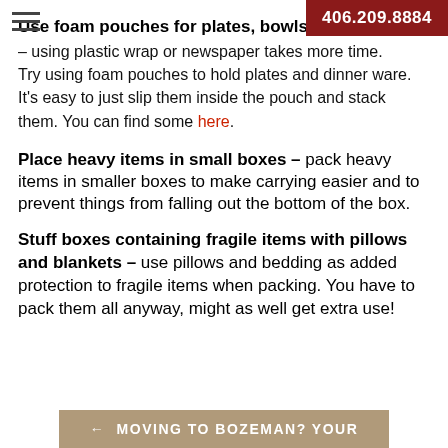Use foam pouches for plates, bowls and glassware
406.209.8884
– using plastic wrap or newspaper takes more time. Try using foam pouches to hold plates and dinner ware. It's easy to just slip them inside the pouch and stack them. You can find some here.
Place heavy items in small boxes
– pack heavy items in smaller boxes to make carrying easier and to prevent things from falling out the bottom of the box.
Stuff boxes containing fragile items with pillows and blankets
– use pillows and bedding as added protection to fragile items when packing. You have to pack them all anyway, might as well get extra use!
← MOVING TO BOZEMAN? YOUR